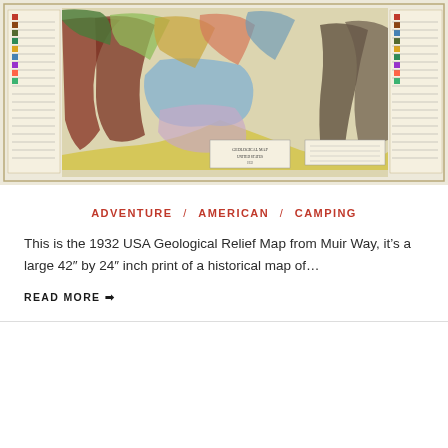[Figure (map): 1932 USA Geological Relief Map showing topographic and geological features of the United States, with colorful terrain and legend panels on the sides]
ADVENTURE / AMERICAN / CAMPING
This is the 1932 USA Geological Relief Map from Muir Way, it’s a large 42″ by 24″ inch print of a historical map of…
READ MORE ➞